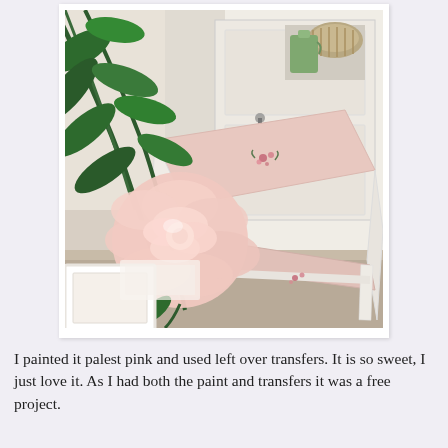[Figure (photo): A photo of a white-painted step stool decorated with small floral transfers in pink and red, set against a white painted cabinet/hutch background. A large pale pink rose and green leaves are placed in front of the stool, along with a white picture frame and lace fabric. Inside the cabinet shelves are visible a green pitcher, wicker basket, and other items.]
I painted it palest pink and used left over transfers. It is so sweet, I just love it. As I had both the paint and transfers it was a free project.